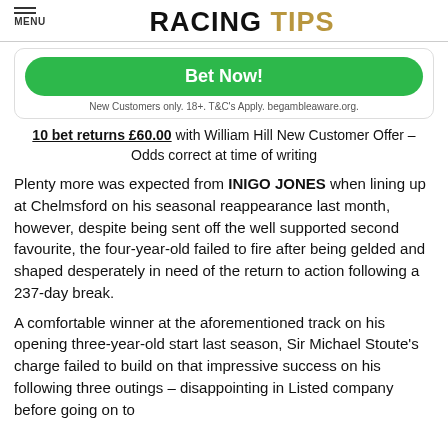RACING TIPS
[Figure (other): Green Bet Now button with disclaimer text: New Customers only. 18+. T&C's Apply. begambleaware.org.]
10 bet returns £60.00 with William Hill New Customer Offer – Odds correct at time of writing
Plenty more was expected from INIGO JONES when lining up at Chelmsford on his seasonal reappearance last month, however, despite being sent off the well supported second favourite, the four-year-old failed to fire after being gelded and shaped desperately in need of the return to action following a 237-day break.
A comfortable winner at the aforementioned track on his opening three-year-old start last season, Sir Michael Stoute's charge failed to build on that impressive success on his following three outings – disappointing in Listed company before going on to